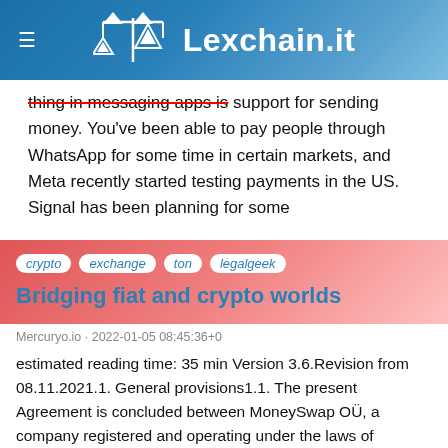Lexchain.it
thing in messaging apps is support for sending money. You've been able to pay people through WhatsApp for some time in certain markets, and Meta recently started testing payments in the US. Signal has been planning for some
crypto  exchange  ton  legalgeek
Bridging fiat and crypto worlds
Mercuryo.io · 2022-01-05 08:45:36+0
estimated reading time: 35 min Version 3.6.Revision from 08.11.2021.1. General provisions1.1. The present Agreement is concluded between MoneySwap OÜ, a company registered and operating under the laws of Republic of Estonia u registration number 14461101, which is registered at